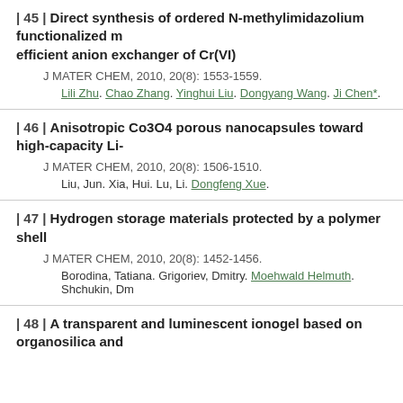| 45 | Direct synthesis of ordered N-methylimidazolium functionalized mesoporous silica as efficient anion exchanger of Cr(VI)
J MATER CHEM, 2010, 20(8): 1553-1559.
Lili Zhu. Chao Zhang. Yinghui Liu. Dongyang Wang. Ji Chen*.
| 46 | Anisotropic Co3O4 porous nanocapsules toward high-capacity Li-ion batteries
J MATER CHEM, 2010, 20(8): 1506-1510.
Liu, Jun. Xia, Hui. Lu, Li. Dongfeng Xue.
| 47 | Hydrogen storage materials protected by a polymer shell
J MATER CHEM, 2010, 20(8): 1452-1456.
Borodina, Tatiana. Grigoriev, Dmitry. Moehwald Helmuth. Shchukin, Dmitry.
| 48 | A transparent and luminescent ionogel based on organosilica and ...
|  |  |  |
| --- | --- | --- |
| □□·□□ | □□·□□□□ | □□· |
| □□·□□□ | □□·□□□□ | □□· |